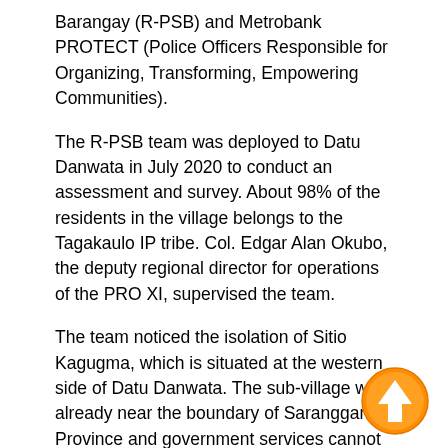Barangay (R-PSB) and Metrobank PROTECT (Police Officers Responsible for Organizing, Transforming, Empowering Communities).
The R-PSB team was deployed to Datu Danwata in July 2020 to conduct an assessment and survey. About 98% of the residents in the village belongs to the Tagakaulo IP tribe. Col. Edgar Alan Okubo, the deputy regional director for operations of the PRO XI, supervised the team.
The team noticed the isolation of Sitio Kagugma, which is situated at the western side of Datu Danwata. The sub-village was already near the boundary of Saranggani Province and government services cannot reach the area as it has no access road. The children's education is compromised due to the distance of the nearest school.
[Figure (illustration): Orange circular upward arrow icon in the bottom-right corner of the page]